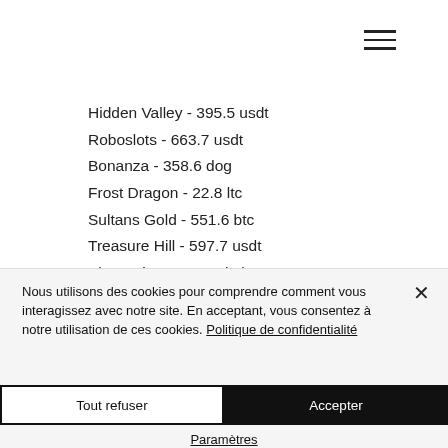[Figure (other): Hamburger menu icon (three horizontal lines)]
Hidden Valley - 395.5 usdt
Roboslots - 663.7 usdt
Bonanza - 358.6 dog
Frost Dragon - 22.8 ltc
Sultans Gold - 551.6 btc
Treasure Hill - 597.7 usdt
Kitty Cabana - 41.6 bch
Nous utilisons des cookies pour comprendre comment vous interagissez avec notre site. En acceptant, vous consentez à notre utilisation de ces cookies. Politique de confidentialité
Tout refuser
Accepter
Paramètres